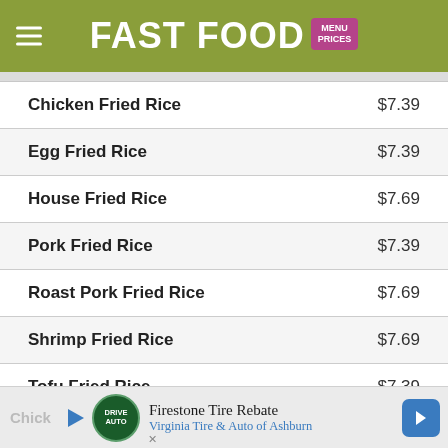FAST FOOD MENU PRICES
| Item | Price |
| --- | --- |
| Chicken Fried Rice | $7.39 |
| Egg Fried Rice | $7.39 |
| House Fried Rice | $7.69 |
| Pork Fried Rice | $7.39 |
| Roast Pork Fried Rice | $7.69 |
| Shrimp Fried Rice | $7.69 |
| Tofu Fried Rice | $7.39 |
| Vegetable Fried Rice | $7.29 |
| Beef Pineapple Fried Rice | $8.69 |
Firestone Tire Rebate — Virginia Tire & Auto of Ashburn